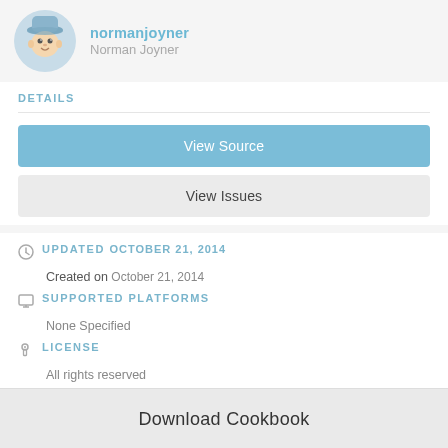[Figure (photo): Avatar/profile image of a cartoon character wearing a blue hat, round face]
normanjoyner
Norman Joyner
DETAILS
View Source
View Issues
UPDATED OCTOBER 21, 2014
Created on October 21, 2014
SUPPORTED PLATFORMS
None Specified
LICENSE
All rights reserved
Download Cookbook